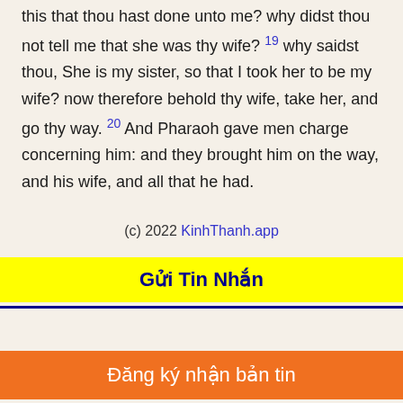this that thou hast done unto me? why didst thou not tell me that she was thy wife? 19 why saidst thou, She is my sister, so that I took her to be my wife? now therefore behold thy wife, take her, and go thy way. 20 And Pharaoh gave men charge concerning him: and they brought him on the way, and his wife, and all that he had.
(c) 2022 KinhThanh.app
Gửi Tin Nhắn
Đăng ký nhận bản tin